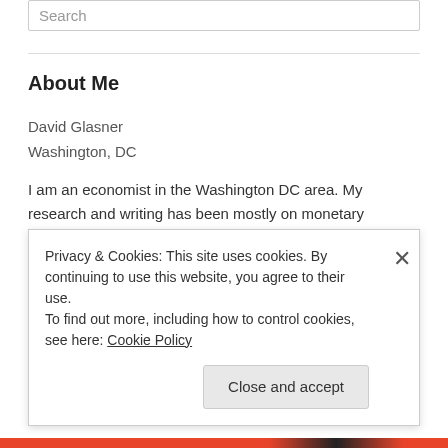Search
About Me
David Glasner
Washington, DC
I am an economist in the Washington DC area. My research and writing has been mostly on monetary economics and policy and the history of economics. In my book Free Banking and Monetary Reform, I argued for a non-Monetarist non-Keynesian approach to monetary policy, based on a theory of a competitive supply of money. Over the years, I have become increasingly impressed by the similarities between my
Privacy & Cookies: This site uses cookies. By continuing to use this website, you agree to their use.
To find out more, including how to control cookies, see here: Cookie Policy
Close and accept